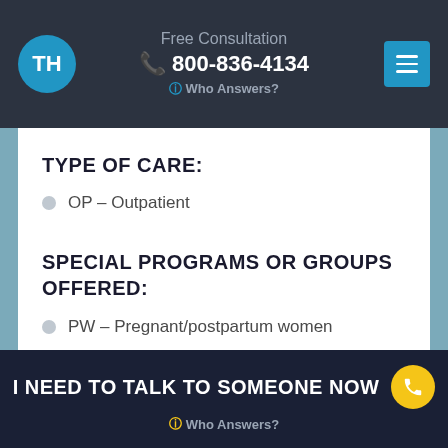Free Consultation 800-836-4134 Who Answers?
TYPE OF CARE:
OP – Outpatient
SPECIAL PROGRAMS OR GROUPS OFFERED:
PW – Pregnant/postpartum women
DU – DUI/DWI offenders
CJ – Criminal justice clients
I NEED TO TALK TO SOMEONE NOW Who Answers?